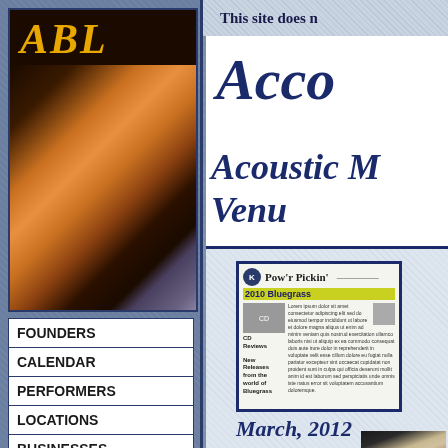This site does n
[Figure (logo): ABL logo in gold italic script over guitar/musician photo on dark background]
FOUNDERS
CALENDAR
PERFORMERS
LOCATIONS
BUSINESSES
QUOTES/JOKES
AWARDS
Aco
Acoustic M
Venu
[Figure (photo): Pow'r Pickin' newsletter cover - 2010 Bluegrass issue with CD Reviews section]
March, 2012
[Figure (photo): Black and white portrait photo of a person with light hair]